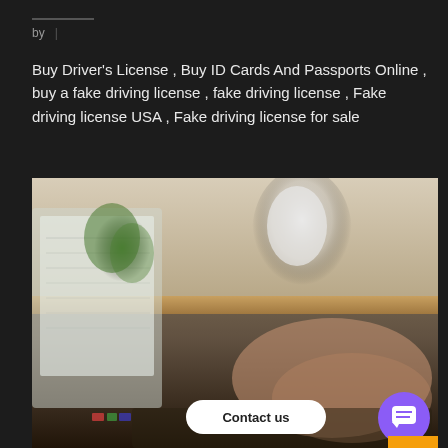by  |
Buy Driver’s License , Buy ID Cards And Passports Online , buy a fake driving license , fake driving license , Fake driving license USA , Fake driving license for sale
[Figure (photo): A blurred photo showing hands typing on a laptop keyboard, with a green plant and a white lamp or device visible in the background. A 'Contact us' chat button and a purple chat icon button are overlaid in the bottom-right corner.]